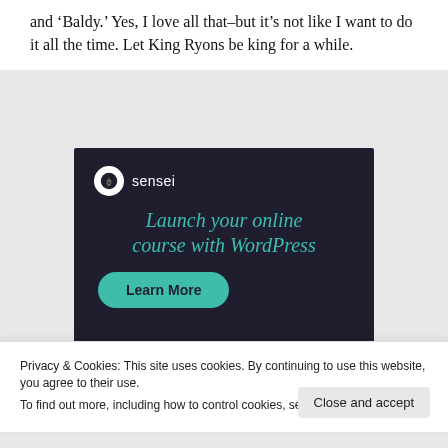and 'Baldy.' Yes, I love all that–but it's not like I want to do it all the time. Let King Ryons be king for a while.
[Figure (other): Sensei advertisement with dark background. Shows the Sensei logo (tree icon in white circle) and brand name, headline 'Launch your online course with WordPress' in teal italic text, and a teal 'Learn More' button.]
Privacy & Cookies: This site uses cookies. By continuing to use this website, you agree to their use.
To find out more, including how to control cookies, see here: Cookie Policy
Close and accept